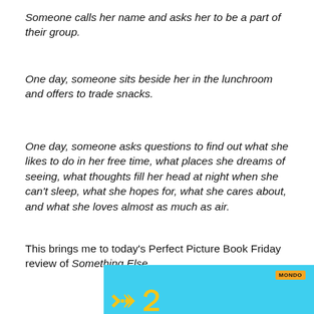Someone calls her name and asks her to be a part of their group.
One day, someone sits beside her in the lunchroom and offers to trade snacks.
One day, someone asks questions to find out what she likes to do in her free time, what places she dreams of seeing, what thoughts fill her head at night when she can't sleep, what she hopes for, what she cares about, and what she loves almost as much as air.
This brings me to today's Perfect Picture Book Friday review of Something Else.
[Figure (photo): Book cover of 'Something Else' with a light blue background, orange 'mondo' badge in top right corner, and yellow stylized text at the bottom.]